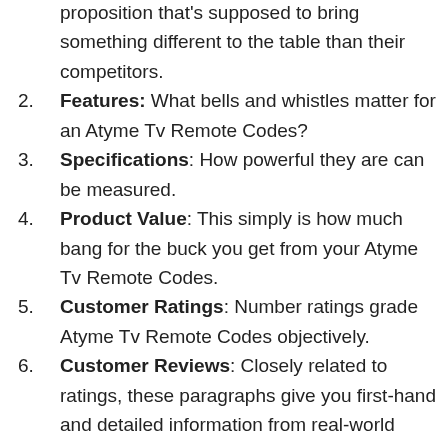proposition that's supposed to bring something different to the table than their competitors.
Features: What bells and whistles matter for an Atyme Tv Remote Codes?
Specifications: How powerful they are can be measured.
Product Value: This simply is how much bang for the buck you get from your Atyme Tv Remote Codes.
Customer Ratings: Number ratings grade Atyme Tv Remote Codes objectively.
Customer Reviews: Closely related to ratings, these paragraphs give you first-hand and detailed information from real-world users about their Atyme Tv Remote Codes.